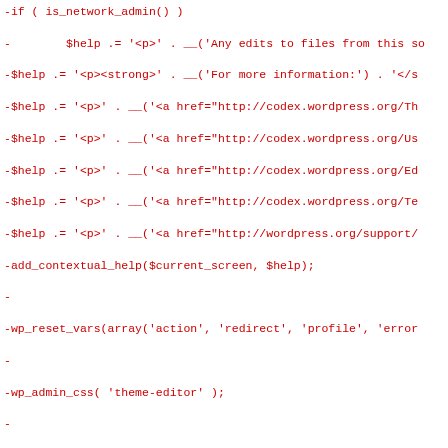[Figure (screenshot): A code diff showing PHP code for a WordPress theme editor, with removed lines in red (prefixed with -) and added lines in green (prefixed with +). The code includes contextual help setup, variable resets, theme loading, and the beginning of a new help tab implementation.]